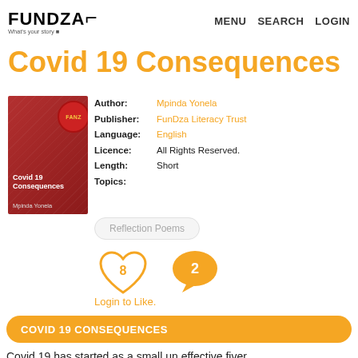70 users online
[Figure (logo): FunDza logo with tagline 'What's your story']
MENU  SEARCH  LOGIN
Covid 19 Consequences
[Figure (illustration): Book cover for 'Covid 19 Consequences' by Mpinda Yonela, red/dark red background with FANZ badge]
Author: Mpinda Yonela
Publisher: FunDza Literacy Trust
Language: English
Licence: All Rights Reserved.
Length: Short
Topics:
Reflection Poems
[Figure (infographic): Heart icon with number 8 (likes) and speech bubble icon with number 2 (comments)]
Login to Like.
COVID 19 CONSEQUENCES
Covid 19 has started as a small un effective fiver